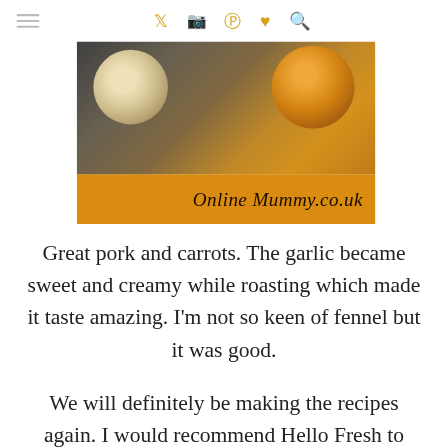≡ ♦ ◻ ⊕ ♥ 🔍
[Figure (photo): Food photo showing roasted pork and vegetables with an orange banner reading 'Online Mummy.co.uk']
Great pork and carrots. The garlic became sweet and creamy while roasting which made it taste amazing. I'm not so keen of fennel but it was good.
We will definitely be making the recipes again. I would recommend Hello Fresh to everyone doesn't have a lot of time to cook but still wants great meals and even people that want to get a bit more imaginative in the kitchen.